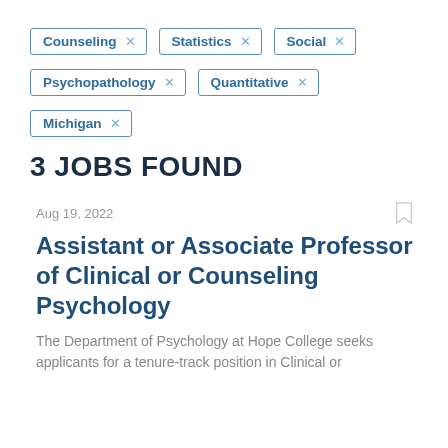Counseling ×
Statistics ×
Social ×
Psychopathology ×
Quantitative ×
Michigan ×
3 JOBS FOUND
Aug 19, 2022
Assistant or Associate Professor of Clinical or Counseling Psychology
The Department of Psychology at Hope College seeks applicants for a tenure-track position in Clinical or